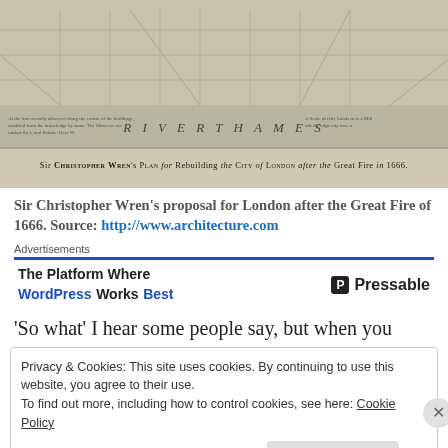[Figure (map): Historical map showing Sir Christopher Wren's plan for rebuilding the City of London after the Great Fire of 1666, depicting the River Thames and street layout, with caption at the bottom reading: Sir Christopher Wren's Plan for Rebuilding the City of London after the Great Fire in 1666.]
Sir Christopher Wren’s proposal for London after the Great Fire of 1666. Source: http://www.architecture.com
Advertisements
The Platform Where WordPress Works Best   Pressable
‘So what’ I hear some people say, but when you
Privacy & Cookies: This site uses cookies. By continuing to use this website, you agree to their use.
To find out more, including how to control cookies, see here: Cookie Policy
Close and accept